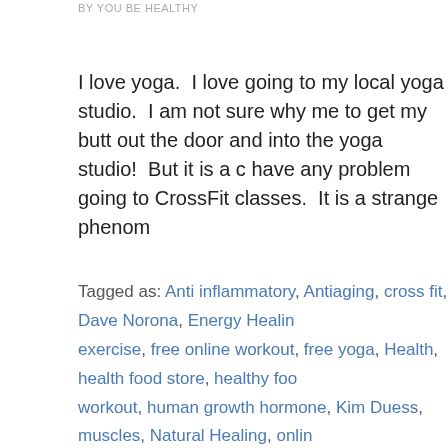by YOU BE HEALTHY
I love yoga.  I love going to my local yoga studio.  I am not sure why me to get my butt out the door and into the yoga studio!  But it is a c have any problem going to CrossFit classes.  It is a strange phenom
Tagged as: Anti inflammatory, Antiaging, cross fit, Dave Norona, Energy Heali exercise, free online workout, free yoga, Health, health food store, healthy foo workout, human growth hormone, Kim Duess, muscles, Natural Healing, onlin Stretching, Yoga, yoga practice, yoga videos, yogatoday.com, You be Healthy
Disclaimer: The entire contents of this website are based upon opinions of the on-one relationship with a qualified health care professional and is not specific medical advice. It is intended as a sharing of knowledge and inform research and in partnership with a qualified health care professional. W
* These statements have not been evaluated by the Food and Drug Adm pregnant, nursing.